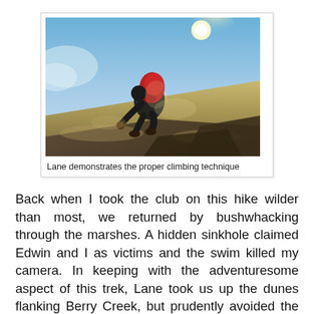[Figure (photo): A person with a red backpack and dark clothing climbing up a sandy dune or rocky slope, viewed from a low angle. Bright sun and blue sky in the background with sandy/rocky terrain.]
Lane demonstrates the proper climbing technique
Back when I took the club on this hike wilder than most, we returned by bushwhacking through the marshes. A hidden sinkhole claimed Edwin and I as victims and the swim killed my camera. In keeping with the adventuresome aspect of this trek, Lane took us up the dunes flanking Berry Creek, but prudently avoided the marshes (and at least one sinkhole!) lurking behind the dunes. The creek had cut the dunes like a giant knife halving sandwiches (dunes...sand...sandwiches, get it?), and it was actually quite